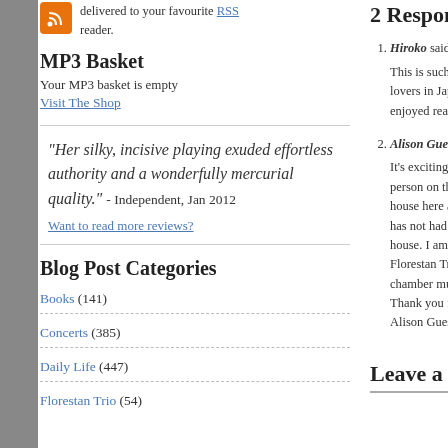delivered to your favourite RSS reader.
MP3 Basket
Your MP3 basket is empty
Visit The Shop
"Her silky, incisive playing exuded effortless authority and a wonderfully mercurial quality." - Independent, Jan 2012
Want to read more reviews?
Blog Post Categories
Books (141)
Concerts (385)
Daily Life (447)
Florestan Trio (54)
2 Responses to “A
Hiroko said on 3 Dec
This is such a great... lovers in Japan, to enjoyed reading yo
Alison Guest said o
It's exciting that thi person on the Isle house here and wh has not had such s house. I am retireo Florestan Trio reco chamber music. I s Thank you for mak Alison Guest
Leave a Reply